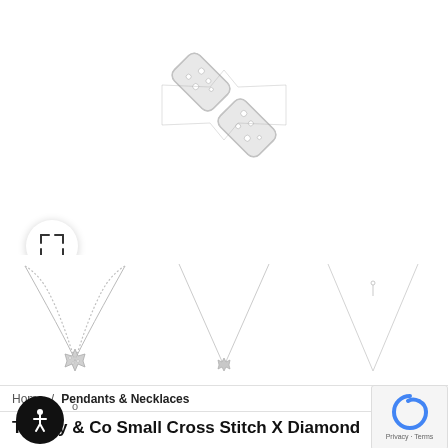[Figure (photo): Close-up of a Tiffany & Co silver diamond X cross stitch pendant/brooch with pavé diamond detailing on white background]
[Figure (photo): Expand/fullscreen button icon (circle with arrows)]
[Figure (photo): Three thumbnail images of diamond X cross stitch necklaces shown on chain: large X pendant necklace, small X pendant necklace, and a delicate pendant necklace]
Home / Pendants & Necklaces
[Figure (logo): Accessibility button (black circle with person icon) and reCAPTCHA widget]
Tiffany & Co Small Cross Stitch X Diamond